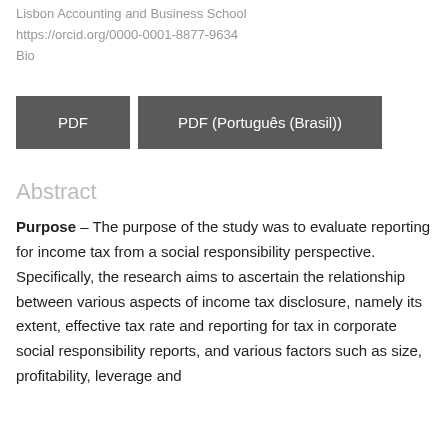Lisbon Accounting and Business School
https://orcid.org/0000-0001-8877-9634
Bio
PDF
PDF (Português (Brasil))
Abstract
Purpose – The purpose of the study was to evaluate reporting for income tax from a social responsibility perspective. Specifically, the research aims to ascertain the relationship between various aspects of income tax disclosure, namely its extent, effective tax rate and reporting for tax in corporate social responsibility reports, and various factors such as size, profitability, leverage and